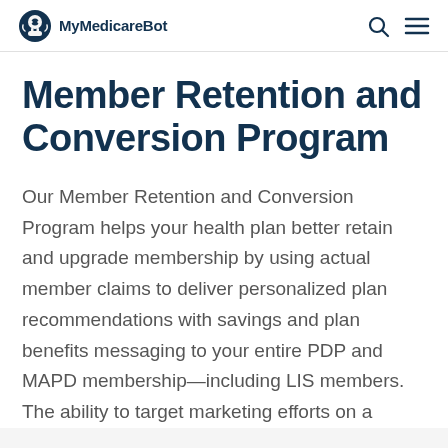MyMedicareBot
Member Retention and Conversion Program
Our Member Retention and Conversion Program helps your health plan better retain and upgrade membership by using actual member claims to deliver personalized plan recommendations with savings and plan benefits messaging to your entire PDP and MAPD membership—including LIS members. The ability to target marketing efforts on a